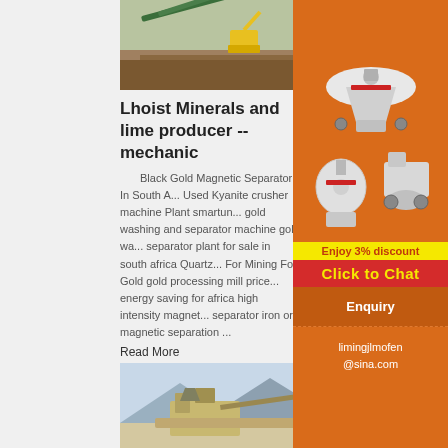[Figure (photo): Mining/quarry facility with yellow excavator and conveyor belts, aerial view]
Lhoist Minerals and lime producer -- mechanic
Black Gold Magnetic Separator In South A... Used Kyanite crusher machine Plant smartun... gold washing and separator machine gold wa... separator plant for sale in south africa Quartz... For Mining For Gold gold processing mill price... energy saving for africa high intensity magnet... separator iron ore magnetic separation ...
Read More
[Figure (photo): Crushing plant with conveyor belt and machinery in quarry, mountains in background]
[Figure (photo): Mining machinery advertisement showing crusher and mill equipment, orange background with discount offer and chat button]